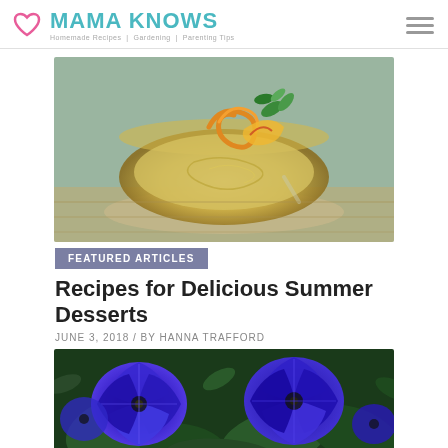MAMA KNOWS — Homemade Recipes | Gardening | Parenting Tips
[Figure (photo): A glass bowl of mango dessert/pudding garnished with a curled mango slice and fresh mint leaves, on a wooden surface.]
FEATURED ARTICLES
Recipes for Delicious Summer Desserts
JUNE 3, 2018 / BY HANNA TRAFFORD
[Figure (photo): Close-up of vivid purple/blue petunia flowers with green leaves.]